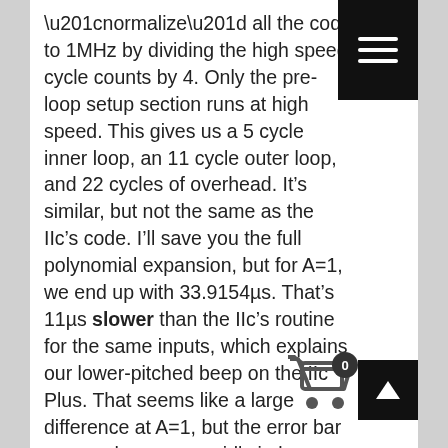“normalize” all the code to 1MHz by dividing the high speed cycle counts by 4. Only the pre-loop setup section runs at high speed. This gives us a 5 cycle inner loop, an 11 cycle outer loop, and 22 cycles of overhead. It’s similar, but not the same as the IIc’s code. I’ll save you the full polynomial expansion, but for A=1, we end up with 33.9154μs. That’s 11μs slower than the IIc’s routine for the same inputs, which explains our lower-pitched beep on the IIc Plus. That seems like a large difference at A=1, but the error bar approaches zero rapidly in longer delays. It’s actually pretty impressive how close they got the two delay routines, considering how different the code has to be.
So what can we do about this? It’s tempting to just rewrite this delay routine to behave the same as the IIc version. However, this routine is used in many, many places in the hardware and software. I’m wary of